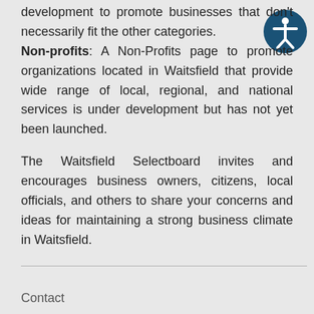development to promote businesses that don't necessarily fit the other categories. Non-profits: A Non-Profits page to promote organizations located in Waitsfield that provide wide range of local, regional, and national services is under development but has not yet been launched.
The Waitsfield Selectboard invites and encourages business owners, citizens, local officials, and others to share your concerns and ideas for maintaining a strong business climate in Waitsfield.
Contact